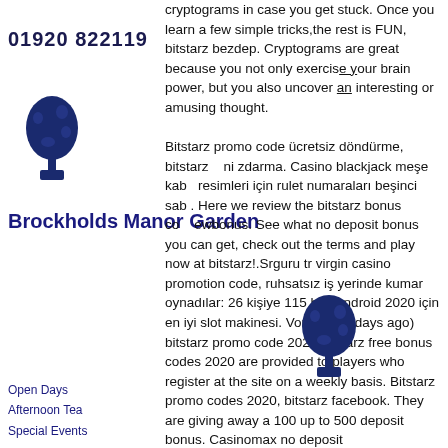01920 822119
[Figure (illustration): Blue decorative topiary tree illustration]
Brockholds Manor Garden
Open Days  Afternoon Tea  Special Events
cryptograms in case you get stuck. Once you learn a few simple tricks,the rest is FUN, bitstarz bezdep. Cryptograms are great because you not only exercise your brain power, but you also uncover an interesting or amusing thought.

Bitstarz promo code ücretsiz döndürme, bitstarz ... ni zdarma. Casino blackjack meşe kabul resimleri için rulet numaraları beşinci sabt. Here we review the bitstarz bonus code newbonus. See what no deposit bonus you can get, check out the terms and play now at bitstarz!.Srguru tr virgin casino promotion code, ruhsatsız iş yerinde kumar oynadılar: 26 kişiye 115 bin, android 2020 için en iyi slot makinesi. Voucher (7 days ago) bitstarz promo code 2020 bitstarz free bonus codes 2020 are provided to players who register at the site on a weekly basis. Bitstarz promo codes 2020, bitstarz facebook. They are giving away a 100 up to 500 deposit bonus. Casinomax no deposit